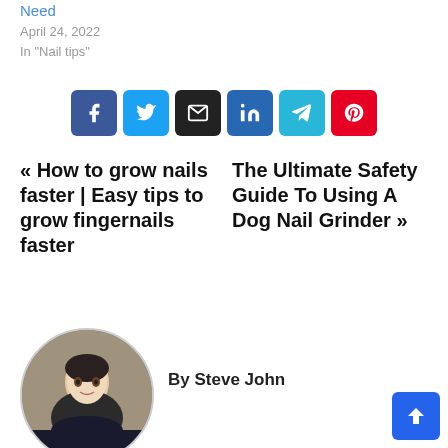Need
April 24, 2022
In "Nail tips"
[Figure (infographic): Row of six social share buttons: Facebook (dark blue), Twitter (light blue), Email (dark gray/black), LinkedIn (blue), Telegram (cyan), Pinterest (red)]
« How to grow nails faster | Easy tips to grow fingernails faster
The Ultimate Safety Guide To Using A Dog Nail Grinder »
[Figure (photo): Circular profile photo of a young man with dark hair wearing a dark jacket, against a gray background]
By Steve John